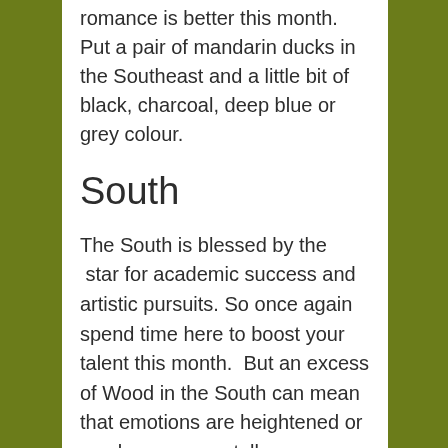romance is better this month. Put a pair of mandarin ducks in the Southeast and a little bit of black, charcoal, deep blue or grey colour.
South
The South is blessed by the  star for academic success and artistic pursuits. So once again spend time here to boost your talent this month.  But an excess of Wood in the South can mean that emotions are heightened or you become mentally overwhelmed and stressed.  Add in a bit of red colour to burn off the